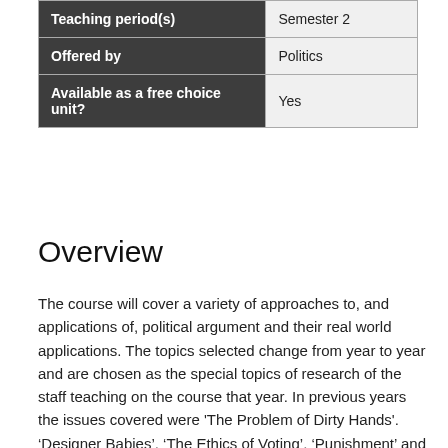| Teaching period(s) | Semester 2 |
| Offered by | Politics |
| Available as a free choice unit? | Yes |
Overview
The course will cover a variety of approaches to, and applications of, political argument and their real world applications. The topics selected change from year to year and are chosen as the special topics of research of the staff teaching on the course that year. In previous years the issues covered were 'The Problem of Dirty Hands'. ‘Designer Babies’, ‘The Ethics of Voting’, ‘Punishment’ and ‘Terrorism’. Students will be taught in lectures and tutorials by a lecturer who is or recently has been conducting research on the topic they are teaching. The course offers a real insight into cutting-edge research and